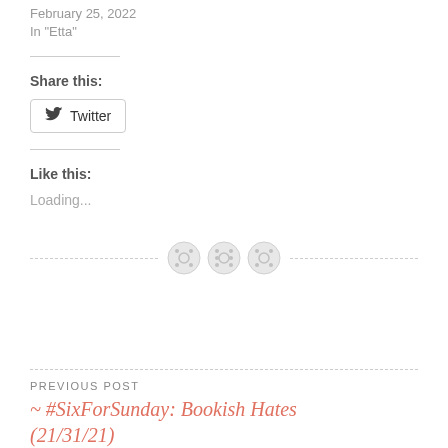February 25, 2022
In "Etta"
Share this:
[Figure (other): Twitter share button with bird icon and label 'Twitter']
Like this:
Loading...
[Figure (other): Decorative divider with three button/sewing button icons on a dashed line]
PREVIOUS POST
~ #SixForSunday: Bookish Hates (21/31/21)